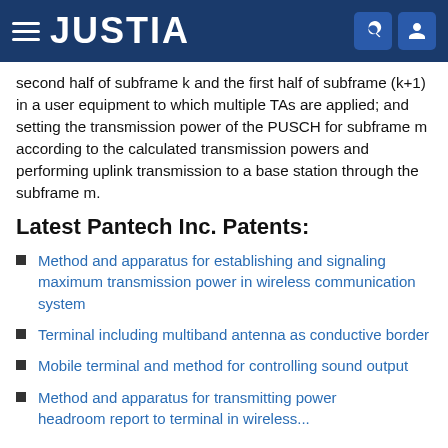JUSTIA
second half of subframe k and the first half of subframe (k+1) in a user equipment to which multiple TAs are applied; and setting the transmission power of the PUSCH for subframe m according to the calculated transmission powers and performing uplink transmission to a base station through the subframe m.
Latest Pantech Inc. Patents:
Method and apparatus for establishing and signaling maximum transmission power in wireless communication system
Terminal including multiband antenna as conductive border
Mobile terminal and method for controlling sound output
Method and apparatus for transmitting power headroom report to terminal in wireless...